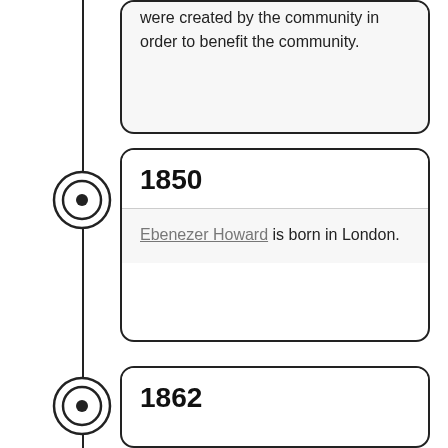were created by the community in order to benefit the community.
[Figure (infographic): Timeline entry for year 1850 with circular marker on vertical line. Card shows bold '1850' heading and text: 'Ebenezer Howard is born in London.']
[Figure (infographic): Timeline entry for year 1862 with circular marker on vertical line. Card shows bold '1862' heading (partially visible).]